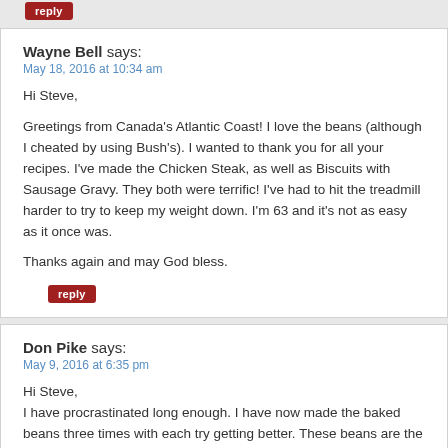reply (button)
Wayne Bell says:
May 18, 2016 at 10:34 am
Hi Steve,

Greetings from Canada's Atlantic Coast! I love the beans (although I cheated by using Bush's). I wanted to thank you for all your recipes. I've made the Chicken Steak, as well as Biscuits with Sausage Gravy. They both were terrific! I've had to hit the treadmill harder to try to keep my weight down. I'm 63 and it's not as easy as it once was.

Thanks again and may God bless.
reply (button)
Don Pike says:
May 9, 2016 at 6:35 pm
Hi Steve,
I have procrastinated long enough. I have now made the baked beans three times with each try getting better. These beans are the